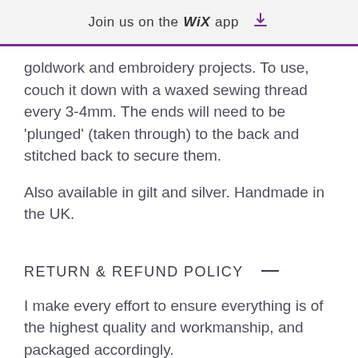Join us on the WiX app ↓
goldwork and embroidery projects. To use, couch it down with a waxed sewing thread every 3-4mm. The ends will need to be 'plunged' (taken through) to the back and stitched back to secure them.
Also available in gilt and silver. Handmade in the UK.
RETURN & REFUND POLICY —
I make every effort to ensure everything is of the highest quality and workmanship, and packaged accordingly.